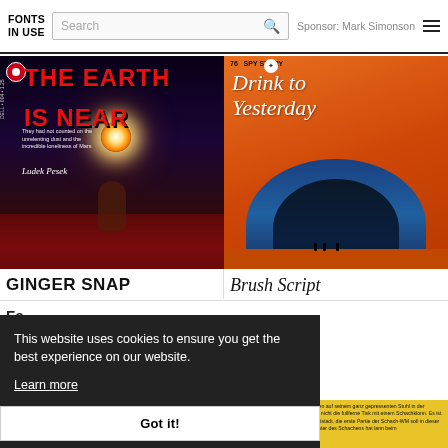FONTS IN USE | Search | Sponsor: Mark Simonson
[Figure (photo): Book cover: THE EARTH IS NEAR by Ludek Pesek, Dell paperback, sci-fi, dark space background with astronaut figure and bright star]
GINGER SNAP
[Figure (photo): Book cover: Drink to Yesterday, orange cover with 'Spy Story' label (#76), white script lettering, illustration of futuristic tunnel/corridor]
Brush Script
Fe...
This website uses cookies to ensure you get the best experience on our website.
Learn more
Got it!
[Figure (photo): Bottom partial: yellow book cover with small German text about Boris Spaski chess]
[Figure (photo): Bottom partial: dark book cover with stylized yellow lettering (AGOMEN or similar)]